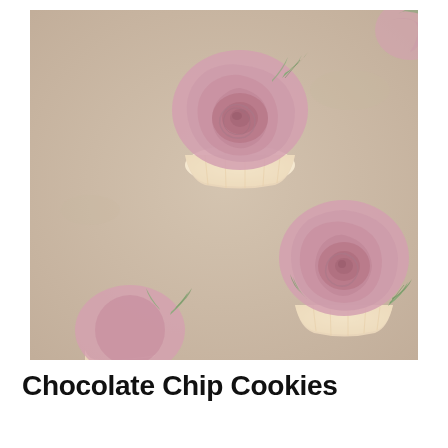[Figure (photo): Overhead photo of cupcakes decorated with pink rose-shaped buttercream frosting and small green leaf accents, arranged diagonally on a beige/neutral background. Three cupcakes are visible: one in the upper-center fully visible, one in the lower-center fully visible, and one partially visible at the bottom-left corner.]
Chocolate Chip Cookies